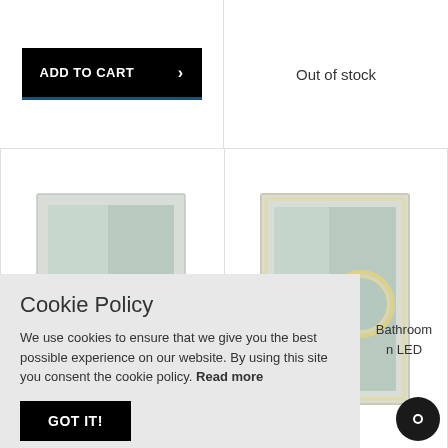ADD TO CART
Out of stock
[Figure (photo): Rectangular bathroom LED mirror with white/silver frame, plain surface]
[Figure (photo): Rectangular bathroom LED mirror with white/silver frame and circular magnifying mirror insert with illuminated ring]
Bathroom
n LED
Cookie Policy
We use cookies to ensure that we give you the best possible experience on our website. By using this site you consent the cookie policy. Read more
GOT IT!